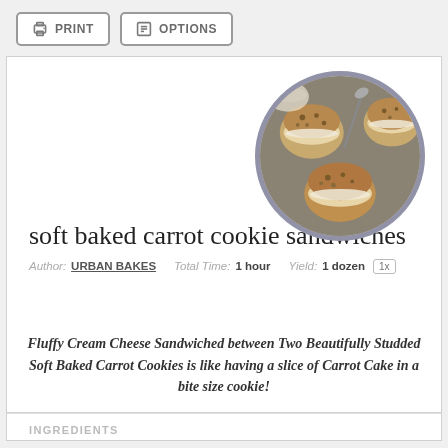[Figure (screenshot): Two UI buttons: PRINT and OPTIONS with icons, gray border style]
[Figure (photo): Circular photo of soft baked carrot cookie sandwiches on a tray, with cream cheese filling visible]
soft baked carrot cookie sandwiches
Author: URBAN BAKES   Total Time: 1 hour   Yield: 1 dozen   1x
Fluffy Cream Cheese Sandwiched between Two Beautifully Studded Soft Baked Carrot Cookies is like having a slice of Carrot Cake in a bite size cookie!
INGREDIENTS